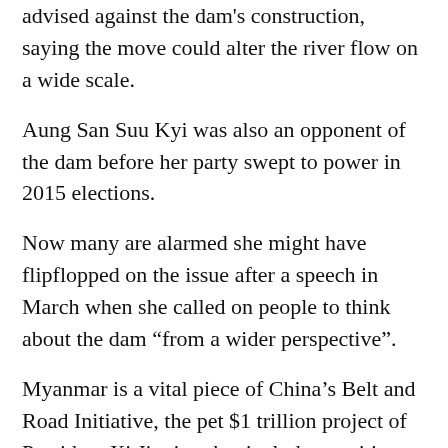advised against the dam's construction, saying the move could alter the river flow on a wide scale.
Aung San Suu Kyi was also an opponent of the dam before her party swept to power in 2015 elections.
Now many are alarmed she might have flipflopped on the issue after a speech in March when she called on people to think about the dam “from a wider perspective”.
Myanmar is a vital piece of China’s Belt and Road Initiative, the pet $1 trillion project of President Xi Jinping that includes maritime, rail and road projects in Asia, Africa and Europe.
China says some 37 nations will be represented at the leader level of the April 25-27 summit in